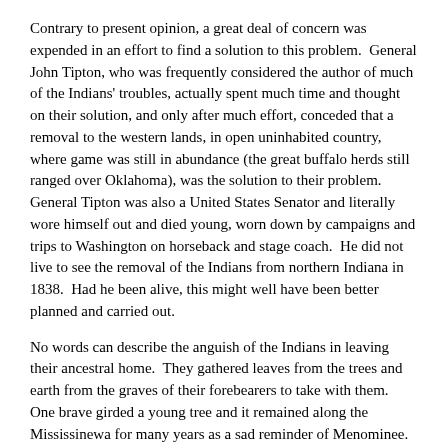Contrary to present opinion, a great deal of concern was expended in an effort to find a solution to this problem.  General John Tipton, who was frequently considered the author of much of the Indians' troubles, actually spent much time and thought on their solution, and only after much effort, conceded that a removal to the western lands, in open uninhabited country, where game was still in abundance (the great buffalo herds still ranged over Oklahoma), was the solution to their problem.  General Tipton was also a United States Senator and literally wore himself out and died young, worn down by campaigns and trips to Washington on horseback and stage coach.  He did not live to see the removal of the Indians from northern Indiana in 1838.  Had he been alive, this might well have been better planned and carried out.
No words can describe the anguish of the Indians in leaving their ancestral home.  They gathered leaves from the trees and earth from the graves of their forebearers to take with them.  One brave girded a young tree and it remained along the Mississinewa for many years as a sad reminder of Menominee.  A few ran away and hid, some aided by friendly pioneers.  Anthony Nigo was one of these.  About 1,000 were finally collected and started the march to Miami, Oklahoma.
There is a plaque on the old bank building in Akron, Indiana, at the site of one of the collecting points on the march.  The route crossed southern Indiana, Illinois, Missouri, and a corner of Kansas into northeastern Oklahoma, about the route of U. S. Road 66.